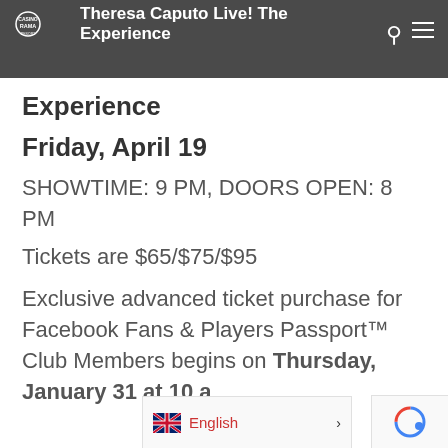Theresa Caputo Live! The Experience
Theresa Caputo Live! The Experience
Friday, April 19
SHOWTIME: 9 PM, DOORS OPEN: 8 PM
Tickets are $65/$75/$95
Exclusive advanced ticket purchase for Facebook Fans & Players Passport™ Club Members begins on Thursday, January 31 at 10 am